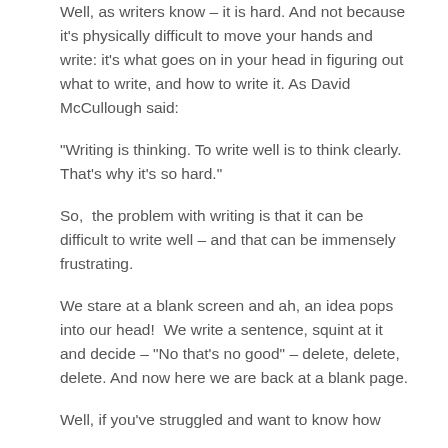Well, as writers know – it is hard. And not because it's physically difficult to move your hands and write: it's what goes on in your head in figuring out what to write, and how to write it. As David McCullough said:
“Writing is thinking. To write well is to think clearly. That’s why it’s so hard.”
So,  the problem with writing is that it can be difficult to write well – and that can be immensely frustrating.
We stare at a blank screen and ah, an idea pops into our head!  We write a sentence, squint at it and decide – “No that’s no good” – delete, delete, delete. And now here we are back at a blank page.
Well, if you’ve struggled and want to know how